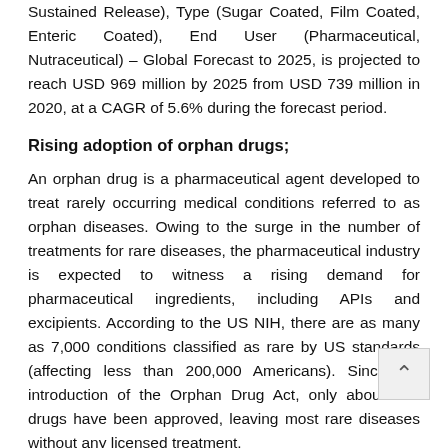Sustained Release), Type (Sugar Coated, Film Coated, Enteric Coated), End User (Pharmaceutical, Nutraceutical) – Global Forecast to 2025, is projected to reach USD 969 million by 2025 from USD 739 million in 2020, at a CAGR of 5.6% during the forecast period.
Rising adoption of orphan drugs;
An orphan drug is a pharmaceutical agent developed to treat rarely occurring medical conditions referred to as orphan diseases. Owing to the surge in the number of treatments for rare diseases, the pharmaceutical industry is expected to witness a rising demand for pharmaceutical ingredients, including APIs and excipients. According to the US NIH, there are as many as 7,000 conditions classified as rare by US standards (affecting less than 200,000 Americans). Since the introduction of the Orphan Drug Act, only about 600 drugs have been approved, leaving most rare diseases without any licensed treatment.
Additionally, drug makers typically charge higher prices for